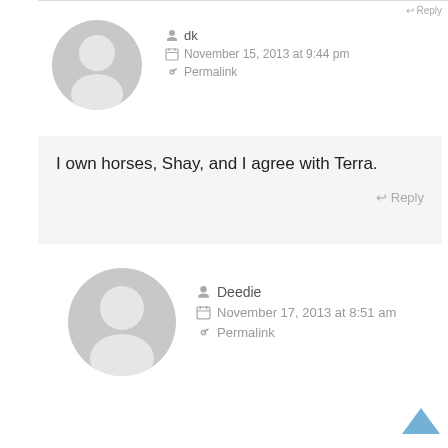[Figure (illustration): Gray default user avatar circle for commenter dk]
dk
November 15, 2013 at 9:44 pm
Permalink
I own horses, Shay, and I agree with Terra.
Reply
[Figure (illustration): Gray default user avatar circle for commenter Deedie]
Deedie
November 17, 2013 at 8:51 am
Permalink